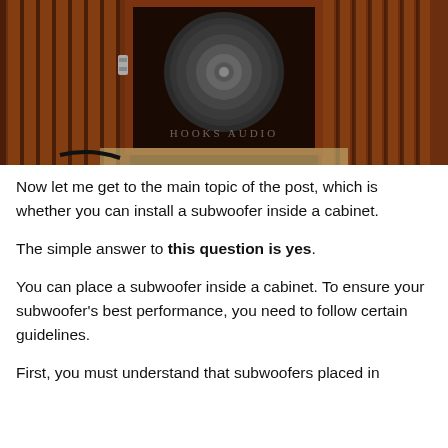[Figure (photo): A subwoofer speaker inside a wooden cabinet with slatted wood panels on either side. The speaker driver is visible in the center. A watermark reads 'HOOKS AUDIO'. The cabinet is sitting on carpet.]
Now let me get to the main topic of the post, which is whether you can install a subwoofer inside a cabinet.
The simple answer to this question is yes.
You can place a subwoofer inside a cabinet. To ensure your subwoofer’s best performance, you need to follow certain guidelines.
First, you must understand that subwoofers placed in